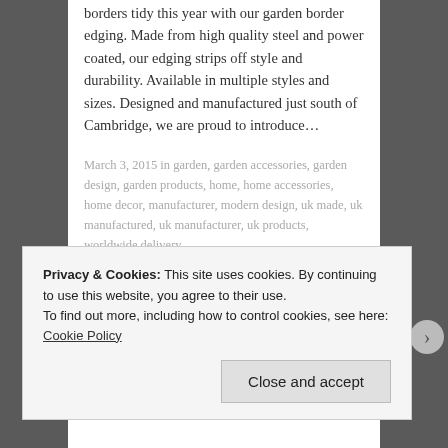borders tidy this year with our garden border edging. Made from high quality steel and power coated, our edging strips off style and durability. Available in multiple styles and sizes. Designed and manufactured just south of Cambridge, we are proud to introduce…
March 3, 2015 in garden, garden accessories, garden design, garden products, home, home accessories, home decor, manufacturer, modern design, uk made, uk manufactured, uk manufacturer, uk products, worldwide delivery.
[Figure (photo): Photo of garden edging products showing geometric shapes on grass and stone paving]
Privacy & Cookies: This site uses cookies. By continuing to use this website, you agree to their use.
To find out more, including how to control cookies, see here: Cookie Policy
Close and accept